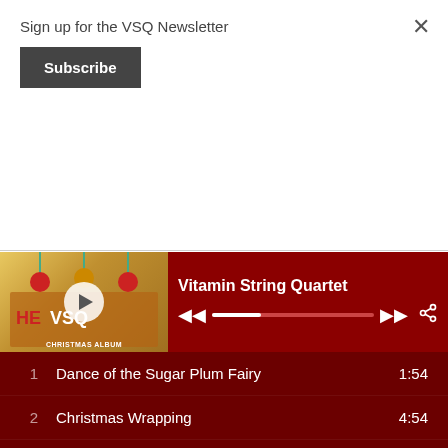Sign up for the VSQ Newsletter
Subscribe
[Figure (screenshot): Music player showing Vitamin String Quartet Christmas Album with playback controls and track listing]
1  Dance of the Sugar Plum Fairy  1:54
2  Christmas Wrapping  4:54
3  Mele Kalikimaka  1:40
4  White Christmas  3:08
5  Happy Xmas (War Is Over)  3:29
6  The Chipmunk Song (Christma...  2:00
7  2000 Miles  3:35
8  Christmastime Is Here  2:43
9  O Holy Night  3:37